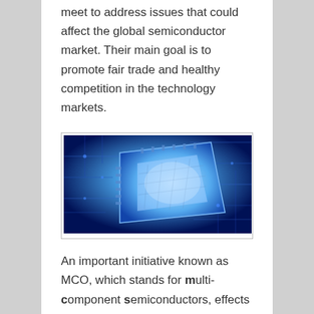meet to address issues that could affect the global semiconductor market. Their main goal is to promote fair trade and healthy competition in the technology markets.
[Figure (photo): Close-up photo of a semiconductor chip on a blue circuit board, illuminated with blue light.]
An important initiative known as MCO, which stands for multi-component semiconductors, effects products from iPhones, digital cameras, CCTVs and a